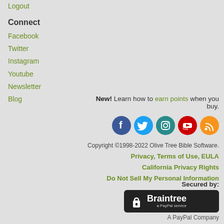Logout
Connect
Facebook
Twitter
Instagram
Youtube
Newsletter
Blog
New! Learn how to earn points when you buy.
[Figure (infographic): Row of 5 social media icons: Facebook (blue), Twitter (light blue), Instagram (teal/dark), YouTube (red), RSS feed (orange)]
Copyright ©1998-2022 Olive Tree Bible Software.
Privacy, Terms of Use, EULA
California Privacy Rights
Do Not Sell My Personal Information
Secured by:
[Figure (logo): Braintree a PayPal Service badge on dark background with lock icon]
A PayPal Company